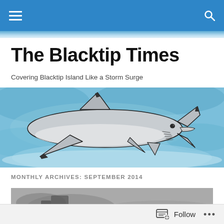The Blacktip Times — navigation bar
The Blacktip Times
Covering Blacktip Island Like a Storm Surge
[Figure (illustration): Watercolor illustration of a blacktip shark swimming in blue water, viewed from the side against a blue watercolor background.]
MONTHLY ARCHIVES: SEPTEMBER 2014
[Figure (photo): Black and white photo, partially visible at the bottom of the page, showing what appears to be a sandy or gravelly surface with a dark object.]
Follow ...